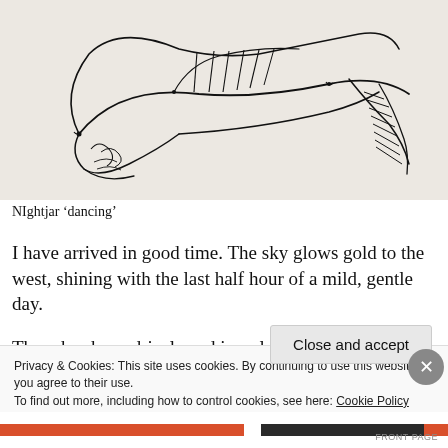[Figure (illustration): A loose ink sketch of a Nightjar bird in a dynamic 'dancing' pose, with outstretched wings and tail, drawn in a gestural sketching style on a beige/cream background.]
NIghtjar ‘dancing’
I have arrived in good time. The sky glows gold to the west, shining with the last half hour of a mild, gentle day.
There has been drizzle and impulsive swirls of nervous
Privacy & Cookies: This site uses cookies. By continuing to use this website, you agree to their use.
To find out more, including how to control cookies, see here: Cookie Policy
Close and accept